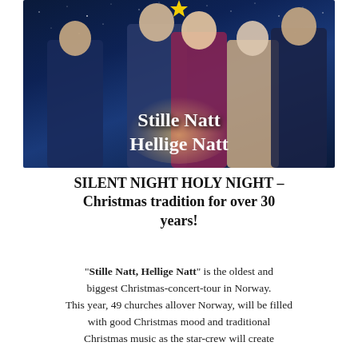[Figure (photo): Promotional photo for 'Stille Natt Hellige Natt' concert tour showing five performers against a dark blue starry night background. Text overlay reads 'Stille Natt Hellige Natt' in large white serif font.]
SILENT NIGHT HOLY NIGHT – Christmas tradition for over 30 years!
"Stille Natt, Hellige Natt" is the oldest and biggest Christmas-concert-tour in Norway. This year, 49 churches allover Norway, will be filled with good Christmas mood and traditional Christmas music as the star-crew will create